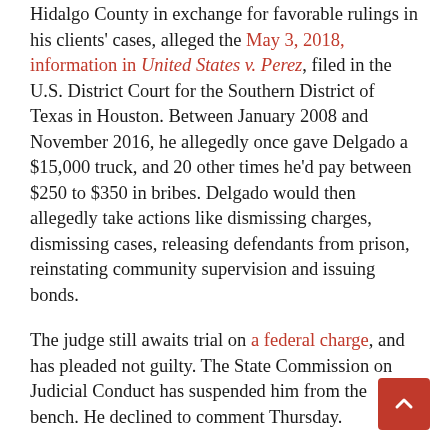Hidalgo County in exchange for favorable rulings in his clients' cases, alleged the May 3, 2018, information in United States v. Perez, filed in the U.S. District Court for the Southern District of Texas in Houston. Between January 2008 and November 2016, he allegedly once gave Delgado a $15,000 truck, and 20 other times he'd pay between $250 to $350 in bribes. Delgado would then allegedly take actions like dismissing charges, dismissing cases, releasing defendants from prison, reinstating community supervision and issuing bonds.
The judge still awaits trial on a federal charge, and has pleaded not guilty. The State Commission on Judicial Conduct has suspended him from the bench. He declined to comment Thursday.
Perez, meanwhile, was arrested and released on bond May 11, 2018, for a charge of conspiracy to commit bribery concerning programs receiving federal funds. He's pleaded guilty and agreed to cooperate with the government's investigation, according to a settlement agreement in the case. He faces a maximum sentence of five years in prison and a $250,000